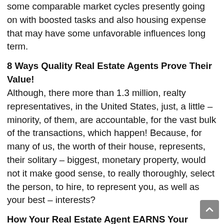some comparable market cycles presently going on with boosted tasks and also housing expense that may have some unfavorable influences long term.
8 Ways Quality Real Estate Agents Prove Their Value!
Although, there more than 1.3 million, realty representatives, in the United States, just, a little – minority, of them, are accountable, for the vast bulk of the transactions, which happen! Because, for many of us, the worth of their house, represents, their solitary – biggest, monetary property, would not it make good sense, to really thoroughly, select the person, to hire, to represent you, as well as your best – interests?
How Your Real Estate Agent EARNS Your Trust?
For the majority of us, the worth of our family residence, represents our solitary – greatest, economic asset! For tha reason, would not it, make feeling, to employ, someone, who